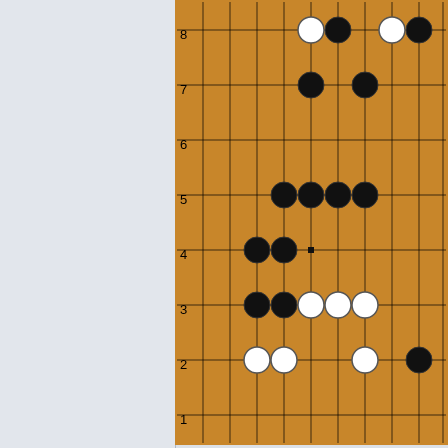[Figure (other): Go board diagram showing a game position with black and white stones. Row numbers 1-8 visible on left. Black Captures: 0 White Captures: 0 shown below board.]
Click Here To Show Diagram Code
Show
Top
[Figure (other): Profile button with user icon]
Post subject: Re: jlt v. hailthorn
#46 Posted: Thu Apr 22, 2021 1:52 pm
dfan
Gosei
Posts: 1534